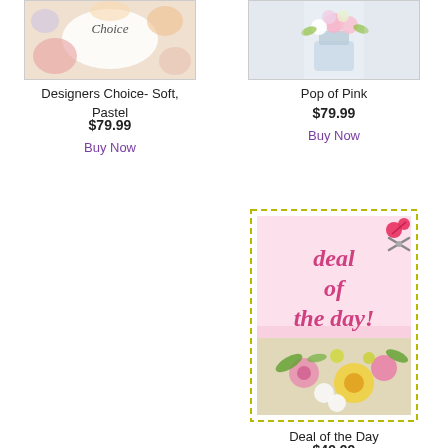[Figure (photo): Florist arrangement labeled 'Designers Choice- Soft, Pastel' with pastel flowers]
Designers Choice- Soft, Pastel
$79.99
Buy Now
[Figure (photo): Vase with pink flowers labeled 'Pop of Pink']
Pop of Pink
$79.99
Buy Now
[Figure (photo): Deal of the Day promotional image with pink background, scissors, dashed border, and mixed spring flowers]
Deal of the Day
$49.99